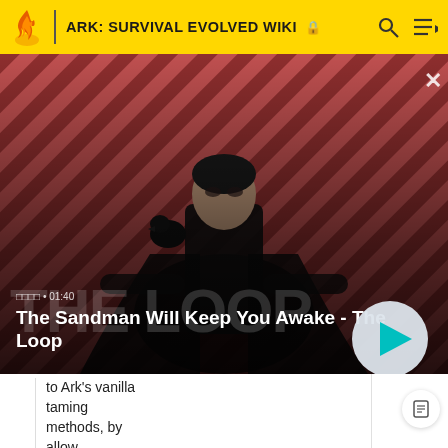ARK: SURVIVAL EVOLVED WIKI
[Figure (screenshot): Video thumbnail/player showing a man in dark clothing with a crow on his shoulder against a red and dark striped background. Text overlay: 'The Sandman Will Keep You Awake - The Loop' with duration 01:40 and a play button.]
to Ark's vanilla taming methods, by allow creatures to be tamed through in